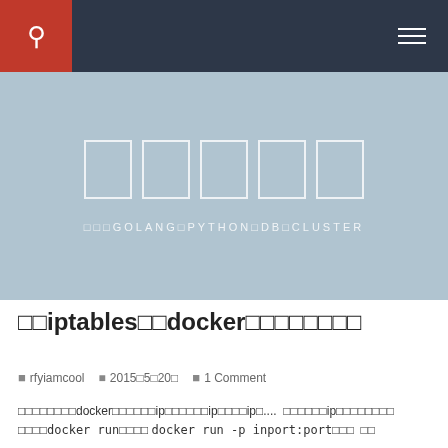Navigation bar with search and menu icons
[Figure (illustration): Hero banner with light blue-grey background showing five outlined white rectangles/squares in a row, and a tagline below reading: □□□GOLANG│PYTHON│DB│CLUSTER]
□□iptables□□docker□□□□□□□□□
rfyiamcool  2015□5□20□  1 Comment
□□□□□□□□□docker□□□□□□ip□□□□□□ip□□□□ip□....  □□□□□□ip□□□□□□□□□docker run□□□□ docker run -p inport:port□□□  □□